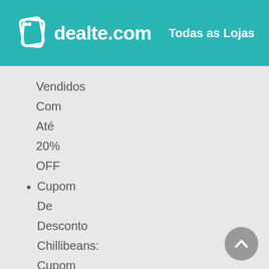dealte.com  Todas as Lojas
Vendidos
Com
Até
20%
OFF
Cupom De Desconto Chillibeans: Cupom De Desconto Chilli Beans Em Óculos